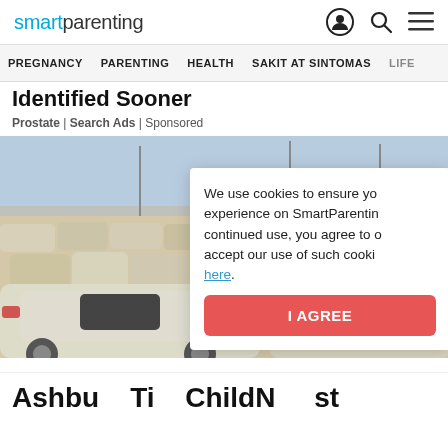smartparenting — PREGNANCY | PARENTING | HEALTH | SAKIT AT SINTOMAS | LIFE
Identified Sooner
Prostate | Search Ads | Sponsored
[Figure (photo): A large parking lot filled with many white and light-colored cars, viewed from ground level, desert landscape in background with light blue sky.]
We use cookies to ensure yo experience on SmartParentin continued use, you agree to accept our use of such cooki here.
I AGREE
Ashbu    Ti         ChildN      st